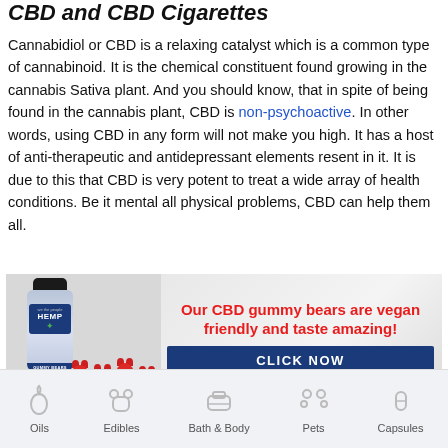CBD and CBD Cigarettes
Cannabidiol or CBD is a relaxing catalyst which is a common type of cannabinoid. It is the chemical constituent found growing in the cannabis Sativa plant. And you should know, that in spite of being found in the cannabis plant, CBD is non-psychoactive. In other words, using CBD in any form will not make you high. It has a host of anti-therapeutic and antidepressant elements resent in it. It is due to this that CBD is very potent to treat a wide array of health conditions. Be it mental all physical problems, CBD can help them all.
[Figure (photo): Advertisement banner for 'We The People Hemp' CBD gummy bears. Shows a bottle of hemp gummy bears on the left with red gummy bear candies, and text reading 'Our CBD gummy bears are vegan friendly and taste amazing!' in red on the right, with a dark blue 'CLICK NOW' button at the bottom.]
Oils   Edibles   Bath & Body   Pets   Capsules